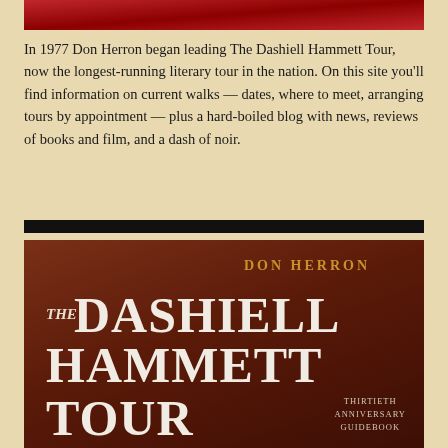[Figure (photo): Red banner/header image at the top of the page]
In 1977 Don Herron began leading The Dashiell Hammett Tour, now the longest-running literary tour in the nation. On this site you'll find information on current walks — dates, where to meet, arranging tours by appointment — plus a hard-boiled blog with news, reviews of books and film, and a dash of noir.
[Figure (photo): Book cover of 'The Dashiell Hammett Tour: Thirtieth Anniversary Guidebook' by Don Herron, brown/dark red background with large white serif title text and gold author name]